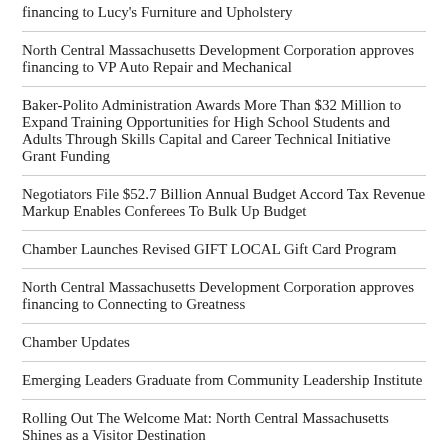financing to Lucy's Furniture and Upholstery
North Central Massachusetts Development Corporation approves financing to VP Auto Repair and Mechanical
Baker-Polito Administration Awards More Than $32 Million to Expand Training Opportunities for High School Students and Adults Through Skills Capital and Career Technical Initiative Grant Funding
Negotiators File $52.7 Billion Annual Budget Accord Tax Revenue Markup Enables Conferees To Bulk Up Budget
Chamber Launches Revised GIFT LOCAL Gift Card Program
North Central Massachusetts Development Corporation approves financing to Connecting to Greatness
Chamber Updates
Emerging Leaders Graduate from Community Leadership Institute
Rolling Out The Welcome Mat: North Central Massachusetts Shines as a Visitor Destination